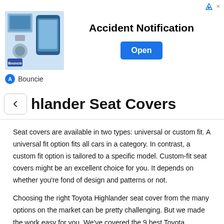[Figure (screenshot): Advertisement banner for 'Bouncie' app - Accident Notification with an Open button, showing product image of device and phone]
...hlander Seat Covers
Seat covers are available in two types: universal or custom fit. A universal fit option fits all cars in a category. In contrast, a custom fit option is tailored to a specific model. Custom-fit seat covers might be an excellent choice for you. It depends on whether you're fond of design and patterns or not.
Choosing the right Toyota Highlander seat cover from the many options on the market can be pretty challenging. But we made the work easy for you. We've covered the 9 best Toyota Highlander car seat covers.
1. Oasis Auto Faux Leatherette Car Seat Cover Universal